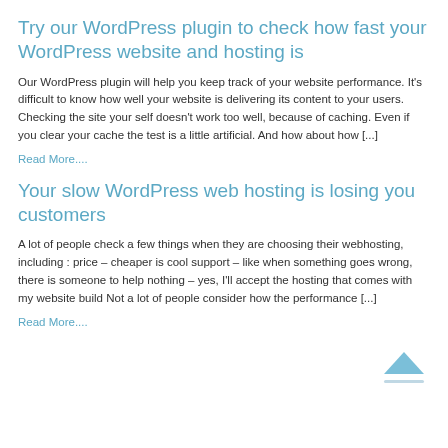Try our WordPress plugin to check how fast your WordPress website and hosting is
Our WordPress plugin will help you keep track of your website performance. It's difficult to know how well your website is delivering its content to your users. Checking the site your self doesn't work too well, because of caching. Even if you clear your cache the test is a little artificial. And how about how [...]
Read More....
Your slow WordPress web hosting is losing you customers
A lot of people check a few things when they are choosing their webhosting, including : price – cheaper is cool support – like when something goes wrong, there is someone to help nothing – yes, I'll accept the hosting that comes with my website build Not a lot of people consider how the performance [...]
Read More....
[Figure (illustration): Back to top arrow icon — a chevron/caret pointing upward in light blue color]